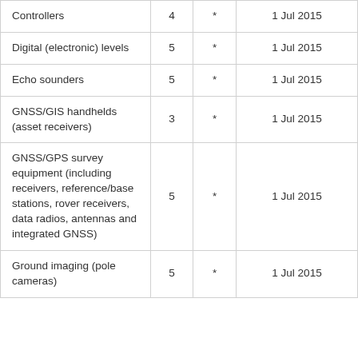| Controllers | 4 | * | 1 Jul 2015 |
| Digital (electronic) levels | 5 | * | 1 Jul 2015 |
| Echo sounders | 5 | * | 1 Jul 2015 |
| GNSS/GIS handhelds (asset receivers) | 3 | * | 1 Jul 2015 |
| GNSS/GPS survey equipment (including receivers, reference/base stations, rover receivers, data radios, antennas and integrated GNSS) | 5 | * | 1 Jul 2015 |
| Ground imaging (pole cameras) | 5 | * | 1 Jul 2015 |